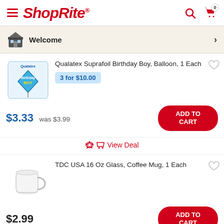ShopRite header with hamburger menu, ShopRite logo, search icon, and cart icon with 0 badge
Welcome
Qualatex Suprafoil Birthday Boy, Balloon, 1 Each
3 for $10.00
$3.33  was $3.99
ADD TO CART
View Deal
TDC USA 16 Oz Glass, Coffee Mug, 1 Each
$2.99
ADD TO CART